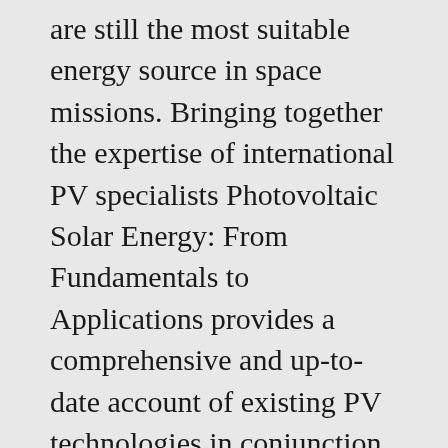are still the most suitable energy source in space missions. Bringing together the expertise of international PV specialists Photovoltaic Solar Energy: From Fundamentals to Applications provides a comprehensive and up-to-date account of existing PV technologies in conjunction with an assessment of technological developments. This three-panel photovoltaic installation is sufficient to power interior lighting and a ventilating fan in this public toilet facility. Photovoltaic Laboratory: Safety, Code-Compliance, and Commercial Off-the-Shelf Equipment (English Edition) Bringing together the expertise of international PV specialists Photovoltaic Solar Energyâ€™ A Knight, J Patel